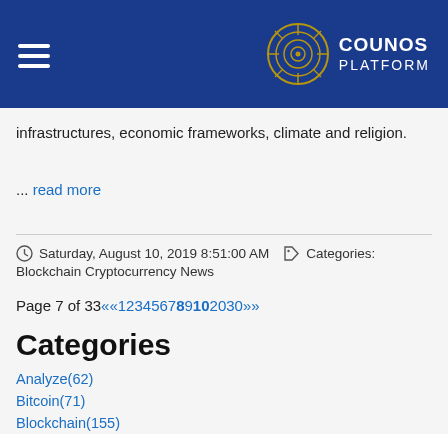COUNOS PLATFORM
infrastructures, economic frameworks, climate and religion.
... read more
Saturday, August 10, 2019 8:51:00 AM   Categories: Blockchain Cryptocurrency News
Page 7 of 33 <<1234567 8 9 10 20 30>>
Categories
Analyze(62)
Bitcoin(71)
Blockchain(155)